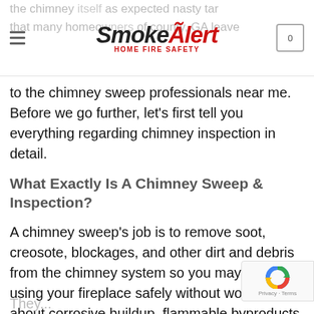SmokeAlert HOME FIRE SAFETY
to the chimney sweep professionals near me. Before we go further, let’s first tell you everything regarding chimney inspection in detail.
What Exactly Is A Chimney Sweep & Inspection?
A chimney sweep’s job is to remove soot, creosote, blockages, and other dirt and debris from the chimney system so you may keep using your fireplace safely without worrying about corrosive buildup, flammable byproducts, or dangerous blockages.
They...